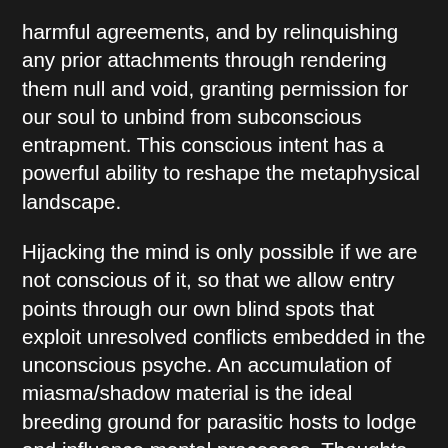harmful agreements, and by relinquishing any prior attachments through rendering them null and void, granting permission for our soul to unbind from subconscious entrapment. This conscious intent has a powerful ability to reshape the metaphysical landscape.
Hijacking the mind is only possible if we are not conscious of it, so that we allow entry points through our own blind spots that exploit unresolved conflicts embedded in the unconscious psyche. An accumulation of miasma/shadow material is the ideal breeding ground for parasitic hosts to lodge and influence mental processes. Thoughts aligned with our higher self are pure and enable us to navigate reality down the correct pathway of personal evolution, but those that regurgitate the algorithms of the machine are disconnected from the outside observer awareness that regulates thought, and so their identity is attached to these instilled beliefs. Anything that diverges from these